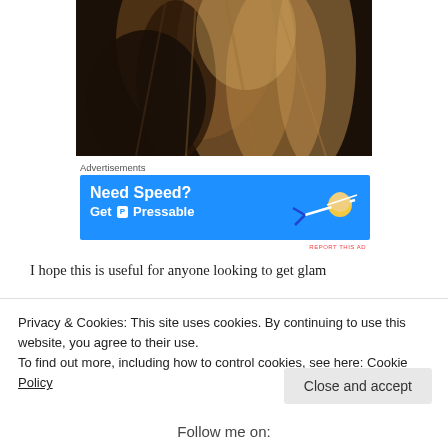[Figure (photo): Close-up photo of a person with long brown/blonde hair against a dark background, viewed from behind/side]
Advertisements
[Figure (other): Advertisement banner: Need Speed? Get Pressable - blue background with flying person graphic]
REPORT THIS AD
I hope this is useful for anyone looking to get glam
Privacy & Cookies: This site uses cookies. By continuing to use this website, you agree to their use.
To find out more, including how to control cookies, see here: Cookie Policy
Close and accept
Follow me on: